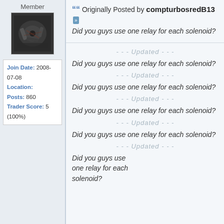Member
[Figure (photo): User avatar photo showing dark mechanical parts]
Join Date: 2008-07-08
Location:
Posts: 860
Trader Score: 5 (100%)
Originally Posted by compturbosredB13
Did you guys use one relay for each solenoid?
- - - Updated - - -
Did you guys use one relay for each solenoid?
- - - Updated - - -
Did you guys use one relay for each solenoid?
- - - Updated - - -
Did you guys use one relay for each solenoid?
- - - Updated - - -
Did you guys use one relay for each solenoid?